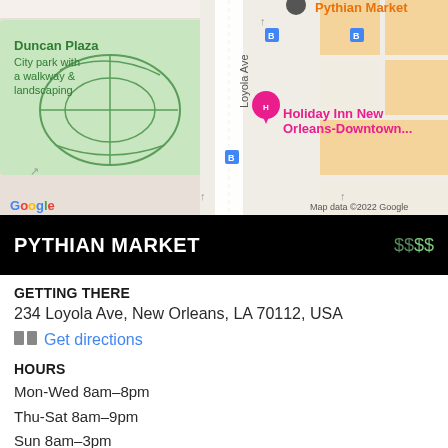[Figure (map): Google Maps screenshot showing Pythian Market area in New Orleans, including Duncan Plaza, Loyola Ave, Holiday Inn New Orleans-Downtown, with map data ©2022 Google]
PYTHIAN MARKET $$$$
GETTING THERE
234 Loyola Ave, New Orleans, LA 70112, USA
Get directions
HOURS
Mon-Wed 8am–8pm
Thu-Sat 8am–9pm
Sun 8am–3pm
CALL
(504) 481-9599
MORE INFO